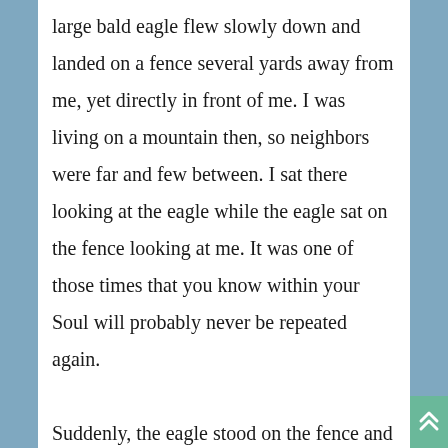large bald eagle flew slowly down and landed on a fence several yards away from me, yet directly in front of me. I was living on a mountain then, so neighbors were far and few between. I sat there looking at the eagle while the eagle sat on the fence looking at me. It was one of those times that you know within your Soul will probably never be repeated again.

Suddenly, the eagle stood on the fence and opened his incredible wings and